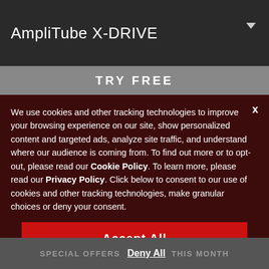AmpliTube X-DRIVE
TRY  FREE
We use cookies and other tracking technologies to improve your browsing experience on our site, show personalized content and targeted ads, analyze site traffic, and understand where our audience is coming from. To find out more or to opt-out, please read our Cookie Policy. To learn more, please read our Privacy Policy. Click below to consent to our use of cookies and other tracking technologies, make granular choices or deny your consent.
Accept All
Manage Settings
SPECIAL OFFERS  Deny All  THIS MONTH